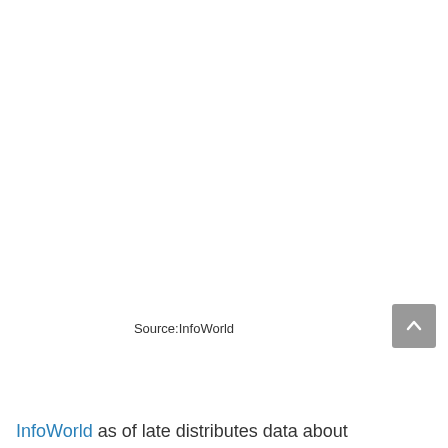Source:InfoWorld
InfoWorld as of late distributes data about